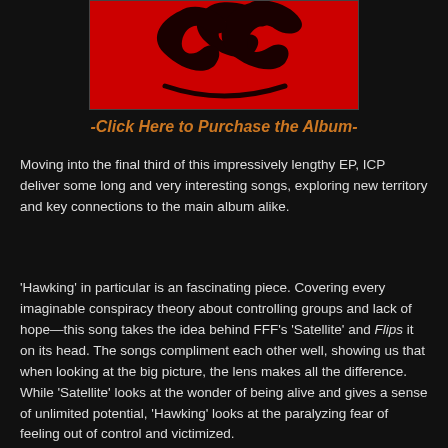[Figure (illustration): Album cover image with red background and dark wing/claw design on black border]
-Click Here to Purchase the Album-
Moving into the final third of this impressively lengthy EP, ICP deliver some long and very interesting songs, exploring new territory and key connections to the main album alike.
'Hawking' in particular is an fascinating piece. Covering every imaginable conspiracy theory about controlling groups and lack of hope—this song takes the idea behind FFF's 'Satellite' and Flips it on its head. The songs compliment each other well, showing us that when looking at the big picture, the lens makes all the difference. While 'Satellite' looks at the wonder of being alive and gives a sense of unlimited potential, 'Hawking' looks at the paralyzing fear of feeling out of control and victimized.